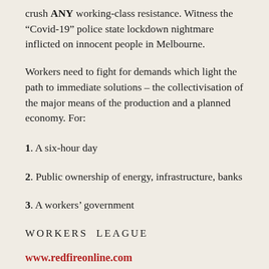crush ANY working-class resistance. Witness the “Covid-19” police state lockdown nightmare inflicted on innocent people in Melbourne.
Workers need to fight for demands which light the path to immediate solutions – the collectivisation of the major means of the production and a planned economy. For:
1. A six-hour day
2. Public ownership of energy, infrastructure, banks
3. A workers’ government
WORKERS  LEAGUE
www.redfireonline.com